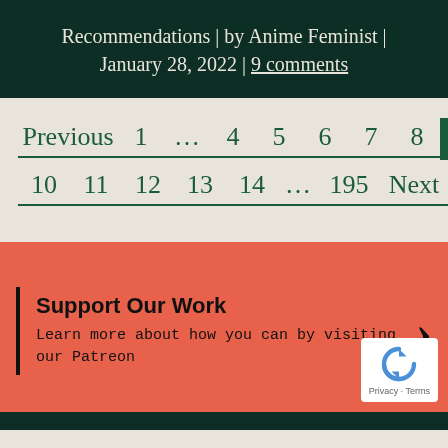Recommendations | by Anime Feminist | January 28, 2022 | 9 comments
Previous 1 … 4 5 6 7 8 9 10 11 12 13 14 … 195 Next
Support Our Work
Learn more about how you can by visiting our Patreon